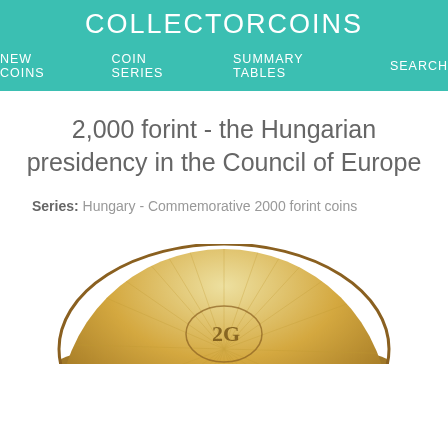COLLECTOR COINS
NEW COINS  COIN SERIES  SUMMARY TABLES  SEARCH
2,000 forint - the Hungarian presidency in the Council of Europe
Series: Hungary - Commemorative 2000 forint coins
[Figure (photo): Top portion of a gold-colored commemorative Hungarian 2000 forint coin viewed from above, showing a textured radial surface and engraved design elements.]